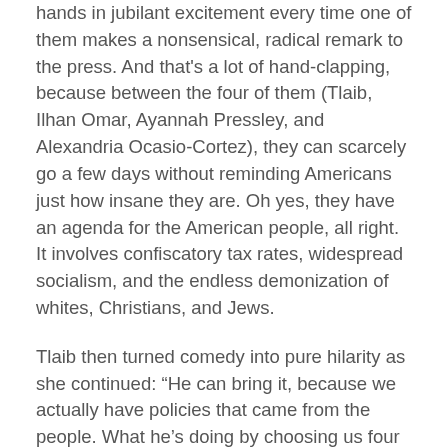hands in jubilant excitement every time one of them makes a nonsensical, radical remark to the press. And that's a lot of hand-clapping, because between the four of them (Tlaib, Ilhan Omar, Ayannah Pressley, and Alexandria Ocasio-Cortez), they can scarcely go a few days without reminding Americans just how insane they are. Oh yes, they have an agenda for the American people, all right. It involves confiscatory tax rates, widespread socialism, and the endless demonization of whites, Christians, and Jews.
Tlaib then turned comedy into pure hilarity as she continued: “He can bring it, because we actually have policies that came from the people. What he’s doing by choosing us four as his target is trying to distract folks from the fact that more people are living in poverty than ever, because he has failed as a president.”
Oh, no one in America today even KNOWS poverty like the kind they would see if these socialists ever actually got control of the government. We’re talking bread-lines and toilet paper rations. The idea that Trump has forced more people than ever before into poverty is simply untrue – under his watch, there is far less unemployment than there was under the last guy. And the notion that the Squad’s idiotic policies are "popular" is a false one: